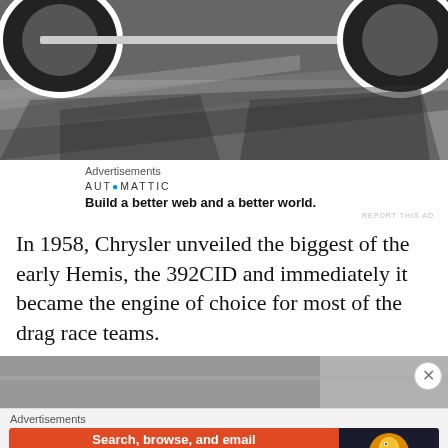[Figure (photo): Black and white photo showing the underside/wheels of a drag racing car on a track surface with shadows]
Advertisements
[Figure (other): Automattic advertisement: Build a better web and a better world.]
In 1958, Chrysler unveiled the biggest of the early Hemis, the 392CID and immediately it became the engine of choice for most of the drag race teams.
[Figure (photo): Partially visible blurred photo at bottom of page]
Advertisements
[Figure (other): DuckDuckGo advertisement: Search, browse, and email with more privacy. All in One Free App]